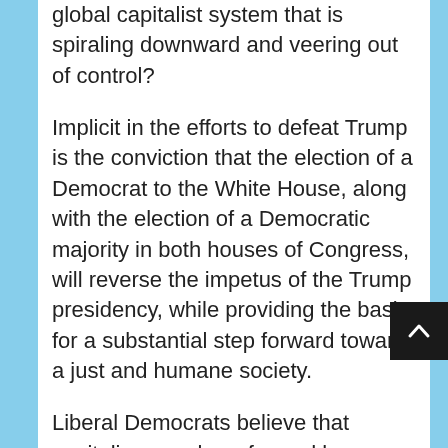global capitalist system that is spiraling downward and veering out of control?
Implicit in the efforts to defeat Trump is the conviction that the election of a Democrat to the White House, along with the election of a Democratic majority in both houses of Congress, will reverse the impetus of the Trump presidency, while providing the basis for a substantial step forward toward a just and humane society.
Liberal Democrats believe that capitalism can be reformed by a benign intervention of the state acting to bring about an acceptable version of the capitalist system. Trump's election and the…